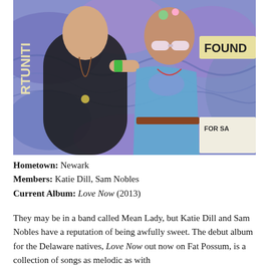[Figure (photo): Two young people posing together in front of a colorful psychedelic mural. The man on the left wears a black tank top with necklaces and a green wristband. The woman on the right wears a blue floral dress with sunglasses and flowers in her hair.]
Hometown: Newark
Members: Katie Dill, Sam Nobles
Current Album: Love Now (2013)
They may be in a band called Mean Lady, but Katie Dill and Sam Nobles have a reputation of being awfully sweet. The debut album for the Delaware natives, Love Now out now on Fat Possum, is a collection of songs as melodic as with